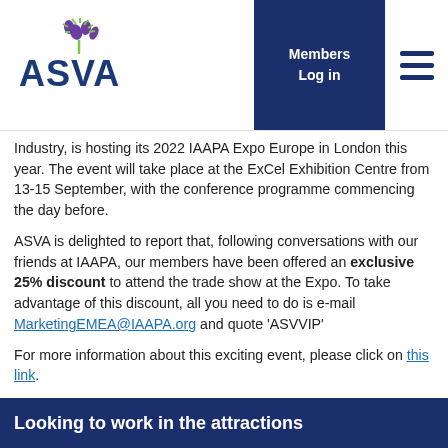[Figure (logo): ASVA logo with thistle graphic and green/purple text]
Industry, is hosting its 2022 IAAPA Expo Europe in London this year. The event will take place at the ExCel Exhibition Centre from 13-15 September, with the conference programme commencing the day before.
ASVA is delighted to report that, following conversations with our friends at IAAPA, our members have been offered an exclusive 25% discount to attend the trade show at the Expo. To take advantage of this discount, all you need to do is e-mail MarketingEMEA@IAAPA.org and quote 'ASVVIP'
For more information about this exciting event, please click on this link.
Looking to work in the attractions